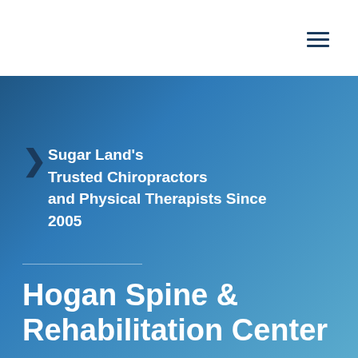Sugar Land's Trusted Chiropractors and Physical Therapists Since 2005
Hogan Spine & Rehabilitation Center